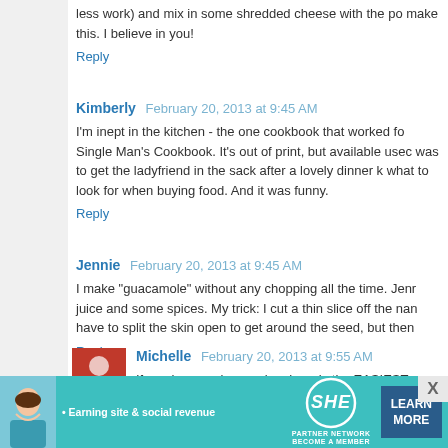less work) and mix in some shredded cheese with the po make this. I believe in you!
Reply
Kimberly  February 20, 2013 at 9:45 AM
I'm inept in the kitchen - the one cookbook that worked fo Single Man's Cookbook. It's out of print, but available use was to get the ladyfriend in the sack after a lovely dinner what to look for when buying food. And it was funny.
Reply
Jennie  February 20, 2013 at 9:45 AM
I make "guacamole" without any chopping all the time. Jen juice and some spices. My trick: I cut a thin slice off the na have to split the skin open to get around the seed, but then
Reply
Michelle  February 20, 2013 at 9:55 AM
If you have a slow cooker, here is the EASIEST recipe
[Figure (infographic): Advertisement banner for SHE Media Partner Network with teal background, woman's photo, SHE logo, and 'LEARN MORE' button]